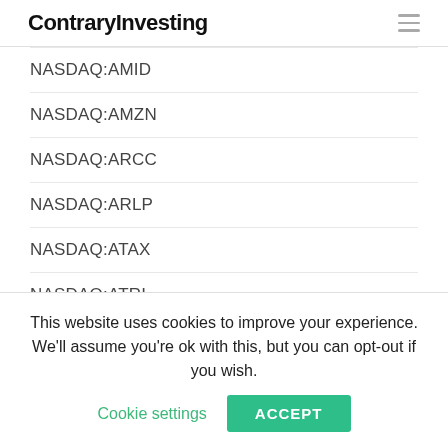ContraryInvesting
NASDAQ:AMID
NASDAQ:AMZN
NASDAQ:ARCC
NASDAQ:ARLP
NASDAQ:ATAX
NASDAQ:ATRI
NASDAQ:ATVI
NASDAQ:AVGO
NASDAQ:AXSM
This website uses cookies to improve your experience. We'll assume you're ok with this, but you can opt-out if you wish. Cookie settings ACCEPT